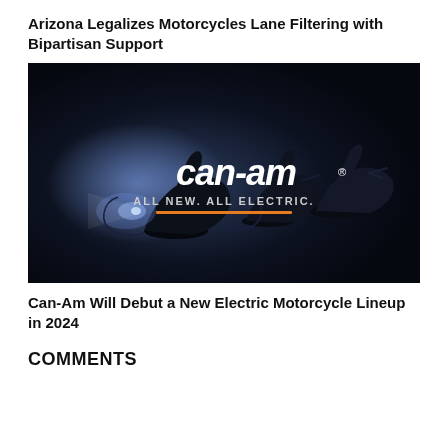Arizona Legalizes Motorcycles Lane Filtering with Bipartisan Support
[Figure (photo): Dark atmospheric photo of motorcycle silhouettes with Can-Am logo and tagline 'ALL NEW. ALL ELECTRIC.' with an orange underline]
Can-Am Will Debut a New Electric Motorcycle Lineup in 2024
COMMENTS